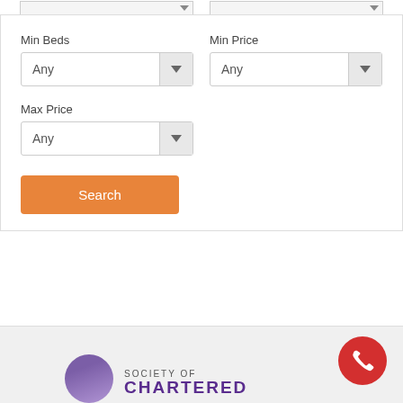[Figure (screenshot): Top portion showing two partial input stub dropdowns from a property search form]
Min Beds
[Figure (screenshot): Dropdown select box with 'Any' value and arrow button for Min Beds]
Min Price
[Figure (screenshot): Dropdown select box with 'Any' value and arrow button for Min Price]
Max Price
[Figure (screenshot): Dropdown select box with 'Any' value and arrow button for Max Price]
[Figure (screenshot): Orange Search button]
[Figure (logo): Red circular phone/call button icon on the right side]
[Figure (logo): Society of Chartered logo with purple circle and text]